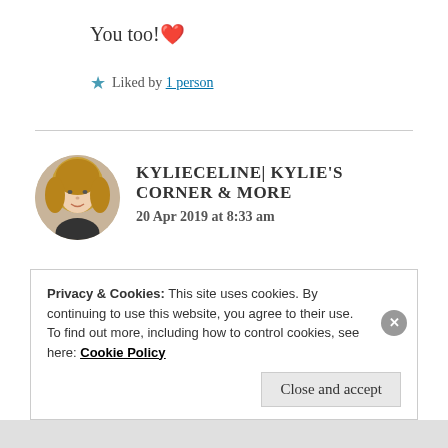You too! ❤️
★ Liked by 1 person
KYLIECELINE| KYLIE'S CORNER & MORE
20 Apr 2019 at 8:33 am
Thank you 😊 ❤
Privacy & Cookies: This site uses cookies. By continuing to use this website, you agree to their use.
To find out more, including how to control cookies, see here: Cookie Policy
Close and accept